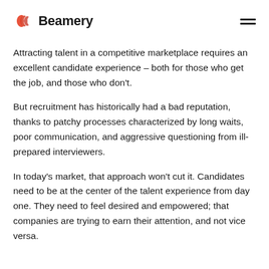Beamery
Attracting talent in a competitive marketplace requires an excellent candidate experience – both for those who get the job, and those who don't.
But recruitment has historically had a bad reputation, thanks to patchy processes characterized by long waits, poor communication, and aggressive questioning from ill-prepared interviewers.
In today's market, that approach won't cut it. Candidates need to be at the center of the talent experience from day one. They need to feel desired and empowered; that companies are trying to earn their attention, and not vice versa.